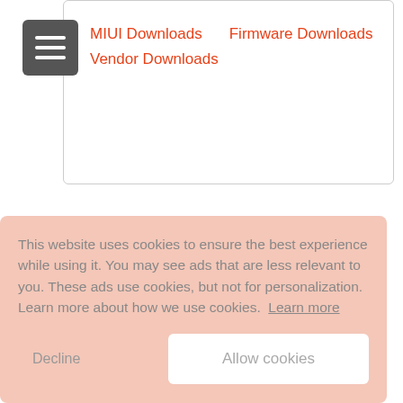[Figure (screenshot): Hamburger menu button (grey square with three horizontal white lines)]
MIUI Downloads    Firmware Downloads
Vendor Downloads
This website uses cookies to ensure the best experience while using it. You may see ads that are less relevant to you. These ads use cookies, but not for personalization. Learn more about how we use cookies.  Learn more
Decline      Allow cookies